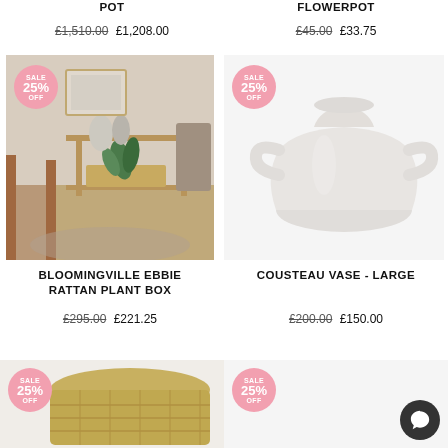POT
£1,510.00- £1,208.00
FLOWERPOT
£45.00- £33.75
[Figure (photo): Interior room photo showing a rattan shelf with plants and decor objects, with SALE 25% OFF badge]
[Figure (photo): White ceramic vase with handles, with SALE 25% OFF badge]
BLOOMINGVILLE EBBIE RATTAN PLANT BOX
£295.00- £221.25
COUSTEAU VASE - LARGE
£200.00- £150.00
[Figure (photo): Rattan basket/plant box with SALE 25% OFF badge (partially visible at bottom)]
[Figure (photo): Partially visible product with SALE 25% OFF badge at bottom right]